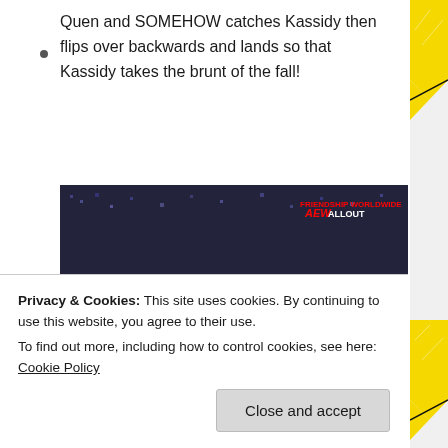Quen and SOMEHOW catches Kassidy then flips over backwards and lands so that Kassidy takes the brunt of the fall!
[Figure (photo): AEW wrestling match photo showing two wrestlers in a ring, one performing a move on the other. A referee in a black-and-white striped shirt is visible to the right. Another wrestler is down on the mat in the background. The AEW ALL OUT logo/watermark is visible in the upper right corner of the image.]
Privacy & Cookies: This site uses cookies. By continuing to use this website, you agree to their use.
To find out more, including how to control cookies, see here: Cookie Policy